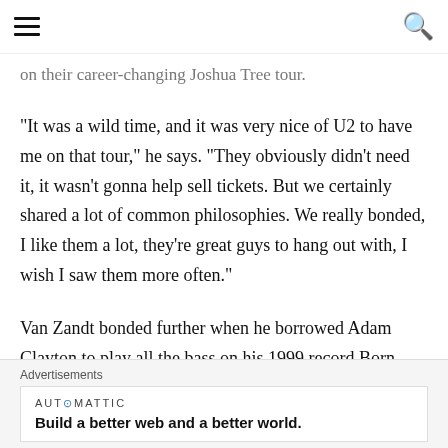[hamburger menu] [search icon]
on their career-changing Joshua Tree tour.
"It was a wild time, and it was very nice of U2 to have me on that tour," he says. "They obviously didn't need it, it wasn't gonna help sell tickets. But we certainly shared a lot of common philosophies. We really bonded, I like them a lot, they're great guys to hang out with, I wish I saw them more often."
Van Zandt bonded further when he borrowed Adam Clayton to play all the bass on his 1999 record Born Again Savage – the album he recorded before finally
Advertisements
AUT⊙MATTIC
Build a better web and a better world.